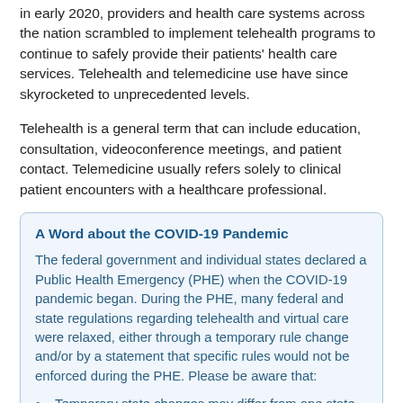in early 2020, providers and health care systems across the nation scrambled to implement telehealth programs to continue to safely provide their patients' health care services. Telehealth and telemedicine use have since skyrocketed to unprecedented levels.
Telehealth is a general term that can include education, consultation, videoconference meetings, and patient contact. Telemedicine usually refers solely to clinical patient encounters with a healthcare professional.
A Word about the COVID-19 Pandemic
The federal government and individual states declared a Public Health Emergency (PHE) when the COVID-19 pandemic began. During the PHE, many federal and state regulations regarding telehealth and virtual care were relaxed, either through a temporary rule change and/or by a statement that specific rules would not be enforced during the PHE. Please be aware that:
Temporary state changes may differ from one state to the next, and many may not be the same